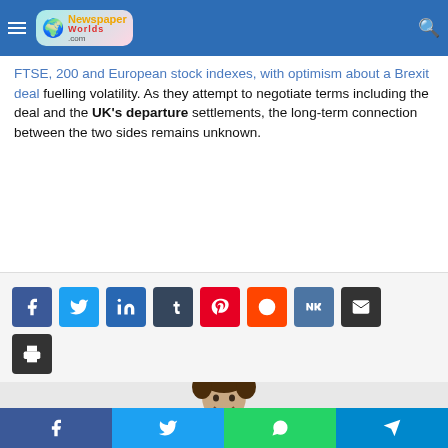Newspaper Worlds .com
FTSE, 200 and European stock indexes, with optimism about a Brexit deal fuelling volatility. As they attempt to negotiate terms including the deal and the UK's departure settlements, the long-term connection between the two sides remains unknown.
[Figure (infographic): Social media share buttons: Facebook (blue), Twitter (light blue), LinkedIn (dark blue), Tumblr (navy), Pinterest (red), Reddit (orange-red), VK (dark blue), Email (dark gray), Print (dark gray)]
[Figure (photo): Photo of a smiling young man with curly brown hair, wearing a light gray shirt, against a white background]
Facebook | Twitter | WhatsApp | Telegram